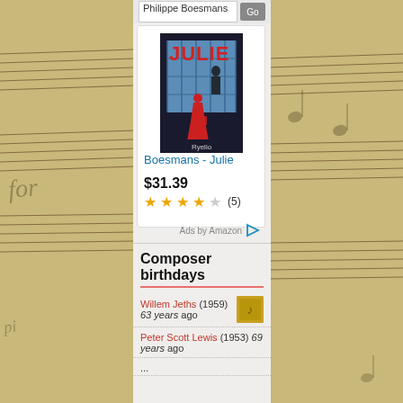[Figure (screenshot): Book cover for 'Julie' by Boesmans, showing a figure in red dress against dark background with window grid]
Boesmans - Julie
$31.39
★★★★☆ (5)
Ads by Amazon ▷
Composer birthdays
Willem Jeths (1959) 63 years ago
Peter Scott Lewis (1953) 69 years ago